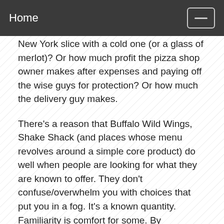Home
New York slice with a cold one (or a glass of merlot)?  Or how much profit the pizza shop owner makes after expenses and paying off the wise guys for protection?   Or how much the delivery guy makes.
There's a reason that Buffalo Wild Wings, Shake Shack (and places whose menu revolves around a simple core product)  do well when people are looking for what they are known to offer. They don't confuse/overwhelm you with choices that put you in a fog. It's a known quantity. Familiarity is comfort for some.   By comparison the Rio Carnival World Buffet located in Las Vegas takes almost 10 minutes to walk the length of the buffet station. According to the Guinness Book of World Records, the largest buffet consisted of 5,612 different dishes in an event organized by the Art of Living Foundation (India) at Sri Sri Dham